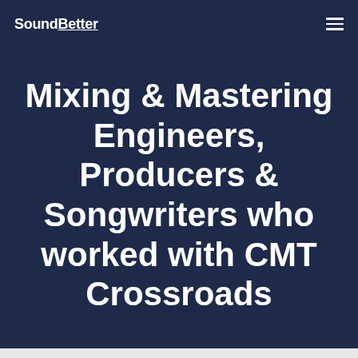SoundBetter
Mixing & Mastering Engineers, Producers & Songwriters who worked with CMT Crossroads